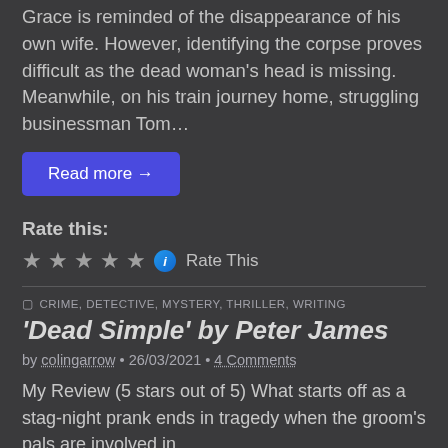found in a field in Brighton, Detective Superintendent Roy Grace is reminded of the disappearance of his own wife. However, identifying the corpse proves difficult as the dead woman's head is missing. Meanwhile, on his train journey home, struggling businessman Tom…
Read more →
Rate this:
★★★★★ ⓘ Rate This
CRIME, DETECTIVE, MYSTERY, THRILLER, WRITING
'Dead Simple' by Peter James
by colingarrow • 26/03/2021 • 4 Comments
My Review (5 stars out of 5) What starts off as a stag-night prank ends in tragedy when the groom's pals are involved in